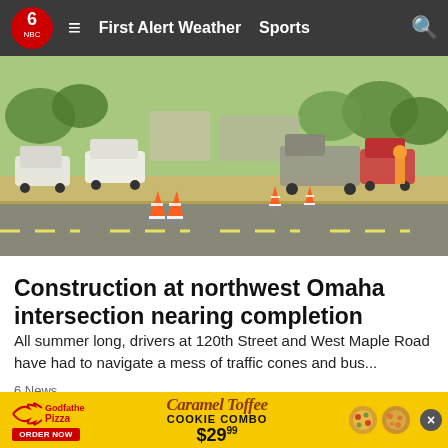6 NBC | First Alert Weather  Sports
[Figure (photo): Road construction scene at a northwest Omaha intersection showing traffic cones on a road with vehicles and workers in the background, trees visible, daytime]
Construction at northwest Omaha intersection nearing completion
All summer long, drivers at 120th Street and West Maple Road have had to navigate a mess of traffic cones and bus...
6 News
[Figure (photo): Three-panel image: left shows close-up of crumbled food/soil texture, middle shows food with white cream or frosting, right shows partial view of a person's face with glasses]
[Figure (other): Advertisement banner for Godfather's Pizza Caramel Toffee Cookie Combo at $29.99 with Order Now button and pizza images]